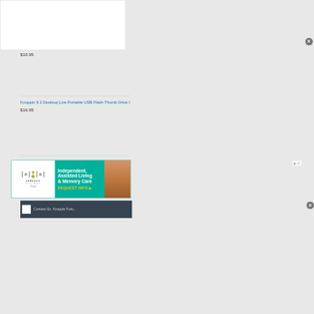$10.95
Knoppix 9.1 Desktop Live Portable USB Flash Thumb Drive GNU Lin...
$16.95
[Figure (screenshot): Advertisement for Cadence Living Olney - Independent, Assisted Living & Memory Care with REQUEST INFO button. Features logo on white background, teal/green main panel with text, and photo of two people on the right. Ad controls (play and close X) visible in top right.]
Contact Us  Knoppix Foru...